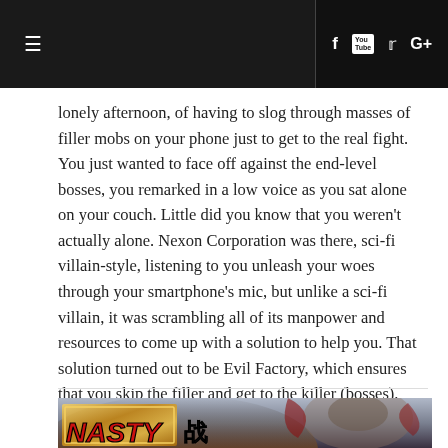Navigation bar with hamburger menu and social icons (Facebook, YouTube, Twitter, Google+)
lonely afternoon, of having to slog through masses of filler mobs on your phone just to get to the real fight. You just wanted to face off against the end-level bosses, you remarked in a low voice as you sat alone on your couch. Little did you know that you weren't actually alone. Nexon Corporation was there, sci-fi villain-style, listening to you unleash your woes through your smartphone's mic, but unlike a sci-fi villain, it was scrambling all of its manpower and resources to come up with a solution to help you. That solution turned out to be Evil Factory, which ensures that you skip the filler and get to the killer (bosses).
[Figure (illustration): Game promotional art showing a warrior character with dark hair and a creature on his head, with text reading NASTY and a Chinese character, golden frame element in foreground, dramatic fantasy background]